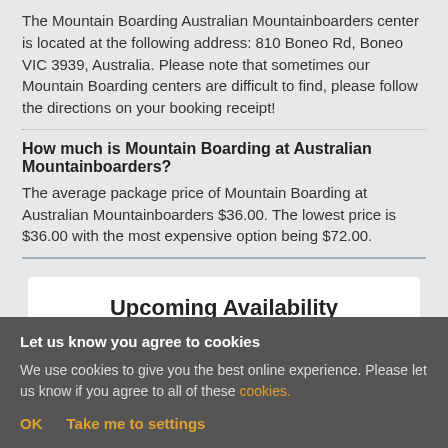The Mountain Boarding Australian Mountainboarders center is located at the following address: 810 Boneo Rd, Boneo VIC 3939, Australia. Please note that sometimes our Mountain Boarding centers are difficult to find, please follow the directions on your booking receipt!
How much is Mountain Boarding at Australian Mountainboarders?
The average package price of Mountain Boarding at Australian Mountainboarders $36.00. The lowest price is $36.00 with the most expensive option being $72.00.
Upcoming Availability
Let us know you agree to cookies
We use cookies to give you the best online experience. Please let us know if you agree to all of these cookies.
OK   Take me to settings